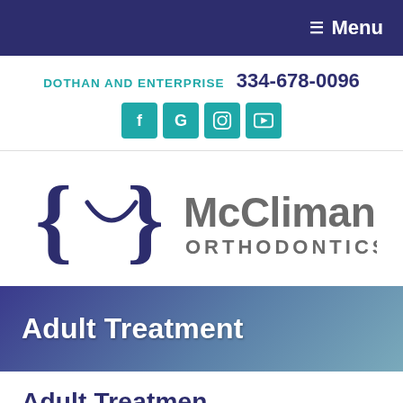≡ Menu
DOTHAN AND ENTERPRISE  334-678-0096
[Figure (other): Social media icons: Facebook (f), Google (G), Instagram, YouTube]
[Figure (logo): McClimans Orthodontics logo with curly braces and smile icon on the left, 'McClimans ORTHODONTICS' text on the right]
Adult Treatment
Adult Treatment